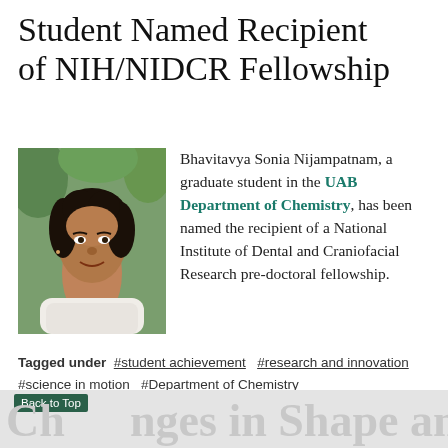Student Named Recipient of NIH/NIDCR Fellowship
[Figure (photo): Portrait photo of Bhavitavya Sonia Nijampatnam, a young woman with dark curly hair, smiling, in front of green foliage background.]
Bhavitavya Sonia Nijampatnam, a graduate student in the UAB Department of Chemistry, has been named the recipient of a National Institute of Dental and Craniofacial Research pre-doctoral fellowship.
Tagged under  #student achievement  #research and innovation  #science in motion  #Department of Chemistry  #department of chemistry student news  #latest
February 12, 2016
Changes in Shape and